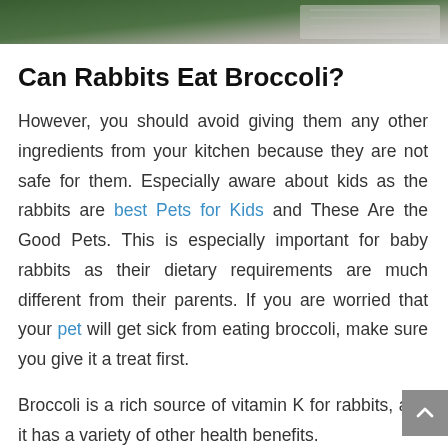[Figure (photo): Top portion of an image showing a rabbit near broccoli, partially cropped at the top of the page]
Can Rabbits Eat Broccoli?
However, you should avoid giving them any other ingredients from your kitchen because they are not safe for them. Especially aware about kids as the rabbits are best Pets for Kids and These Are the Good Pets. This is especially important for baby rabbits as their dietary requirements are much different from their parents. If you are worried that your pet will get sick from eating broccoli, make sure you give it a treat first.
Broccoli is a rich source of vitamin K for rabbits, and it has a variety of other health benefits.